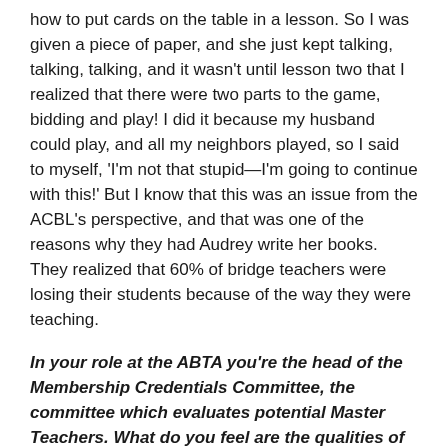how to put cards on the table in a lesson. So I was given a piece of paper, and she just kept talking, talking, talking, and it wasn't until lesson two that I realized that there were two parts to the game, bidding and play! I did it because my husband could play, and all my neighbors played, so I said to myself, 'I'm not that stupid—I'm going to continue with this!' But I know that this was an issue from the ACBL's perspective, and that was one of the reasons why they had Audrey write her books. They realized that 60% of bridge teachers were losing their students because of the way they were teaching.
In your role at the ABTA you're the head of the Membership Credentials Committee, the committee which evaluates potential Master Teachers. What do you feel are the qualities of a great bridge teacher?
It runs the gamut of so many things, from being a good listener and knowing your stuff, to having a functional